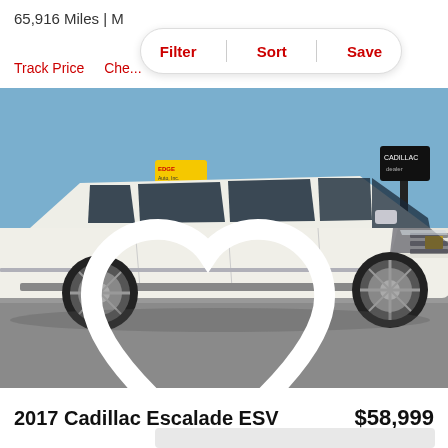65,916 Miles | M
Filter  Sort  Save
Track Price  Che...
[Figure (photo): White 2017 Cadillac Escalade ESV SUV parked in a car dealership lot under a clear blue sky. A yellow dealer sign is visible in the background along with a sign post.]
2017 Cadillac Escalade ESV   $58,999